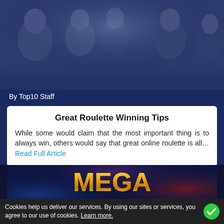[Figure (photo): Group of people at a casino or social gathering, dark blue tinted background. Text 'By Top10 Staff' overlaid at bottom left.]
Great Roulette Winning Tips
While some would claim that the most important thing is to always win, others would say that great online roulette is all… Read Full Article
[Figure (photo): Mega Bonus casino promotional graphic with golden 3D text 'MEGA' and reflective 'BONUS' text below on dark background. Text 'By Top10 Staff' overlaid at bottom left.]
Cookies help us deliver our services. By using our sites or services, you agree to our use of cookies. Learn more.